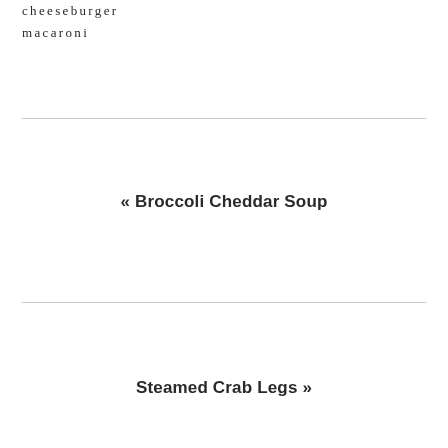cheeseburger
macaroni
« Broccoli Cheddar Soup
Steamed Crab Legs »